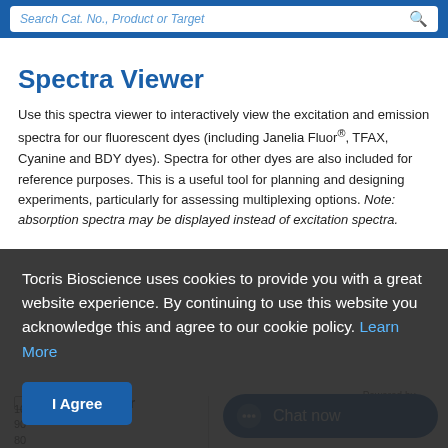Search Cat. No., Product or Target
Spectra Viewer
Use this spectra viewer to interactively view the excitation and emission spectra for our fluorescent dyes (including Janelia Fluor®, TFAX, Cyanine and BDY dyes). Spectra for other dyes are also included for reference purposes. This is a useful tool for planning and designing experiments, particularly for assessing multiplexing options. Note: absorption spectra may be displayed instead of excitation spectra.
Tocris Bioscience uses cookies to provide you with a great website experience. By continuing to use this website you acknowledge this and agree to our cookie policy. Learn More
I Agree
Spectra Viewer
Powered by FluoroFinder
100
90
80
Chat now